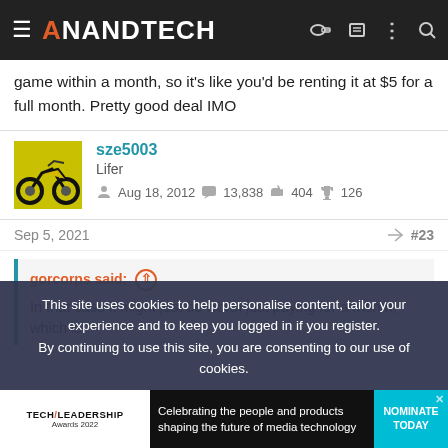AnandTech
game within a month, so it's like you'd be renting it at $5 for a full month. Pretty good deal IMO
sze5003
Lifer
Aug 18, 2012   13,838   404   126
Sep 5, 2021   #23
gorcorps said: ↑

In that case it might just be worth just paying for a month, which is
This site uses cookies to help personalise content, tailor your experience and to keep you logged in if you register.
By continuing to use this site, you are consenting to our use of cookies.
[Figure (screenshot): Tech Leadership Awards 2022 advertisement banner - Celebrating the people and products shaping the future of media technology. NOMINATE TODAY button.]